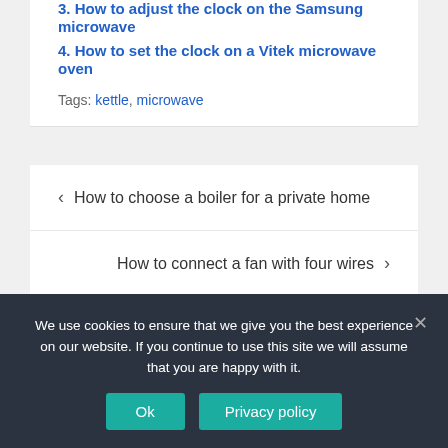3. How to adjust the clock on the Samsung microwave
4. How to set the clock on a Vitek microwave oven
Tags: kettle, microwave
‹  How to choose a boiler for a private home
How to connect a fan with four wires  ›
We use cookies to ensure that we give you the best experience on our website. If you continue to use this site we will assume that you are happy with it.